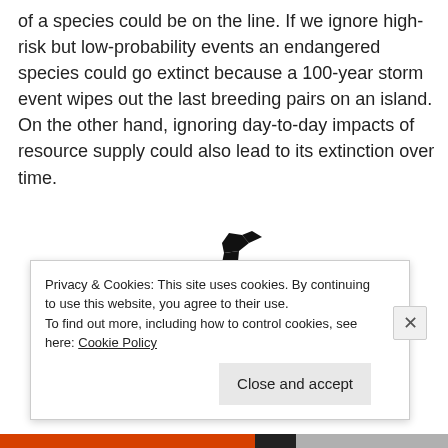of a species could be on the line. If we ignore high-risk but low-probability events an endangered species could go extinct because a 100-year storm event wipes out the last breeding pairs on an island. On the other hand, ignoring day-to-day impacts of resource supply could also lead to its extinction over time.
[Figure (illustration): An origami black swan figure centered in the page]
Privacy & Cookies: This site uses cookies. By continuing to use this website, you agree to their use.
To find out more, including how to control cookies, see here: Cookie Policy